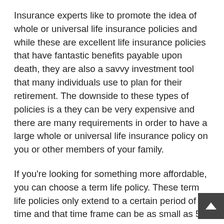Insurance experts like to promote the idea of whole or universal life insurance policies and while these are excellent life insurance policies that have fantastic benefits payable upon death, they are also a savvy investment tool that many individuals use to plan for their retirement. The downside to these types of policies is a they can be very expensive and there are many requirements in order to have a large whole or universal life insurance policy on you or other members of your family.
If you're looking for something more affordable, you can choose a term life policy. These term life policies only extend to a certain period of time and that time frame can be as small as 5 years and as long as 30 years. These insurance policies offer a great amount of coverage, they offer low monthly premiums and people with health issues or people who smoke or drink can still get these types of policies for relatively affordable prices.